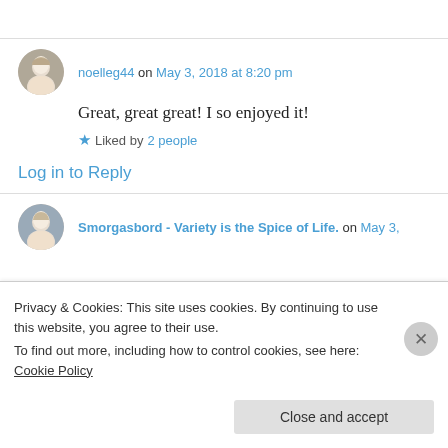noelleg44 on May 3, 2018 at 8:20 pm — Great, great great! I so enjoyed it! Liked by 2 people
Log in to Reply
Smorgasbord - Variety is the Spice of Life. on May 3,
Privacy & Cookies: This site uses cookies. By continuing to use this website, you agree to their use. To find out more, including how to control cookies, see here: Cookie Policy
Close and accept